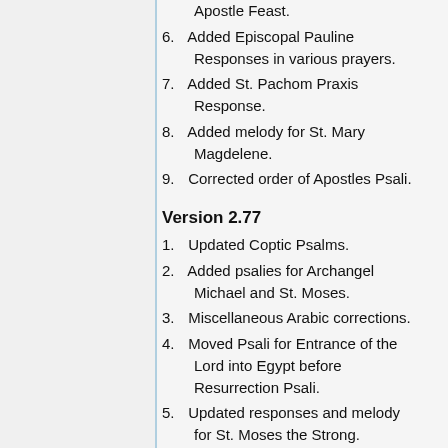Apostle Feast.
6. Added Episcopal Pauline Responses in various prayers.
7. Added St. Pachom Praxis Response.
8. Added melody for St. Mary Magdelene.
9. Corrected order of Apostles Psali.
Version 2.77
1. Updated Coptic Psalms.
2. Added psalies for Archangel Michael and St. Moses.
3. Miscellaneous Arabic corrections.
4. Moved Psali for Entrance of the Lord into Egypt before Resurrection Psali.
5. Updated responses and melody for St. Moses the Strong.
6. Added Praxis Response for St.